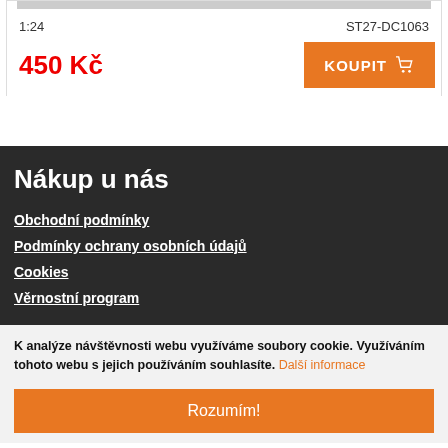1:24
ST27-DC1063
450 Kč
KOUPIT
Nákup u nás
Obchodní podmínky
Podmínky ochrany osobních údajů
Cookies
Věrnostní program
K analýze návštěvnosti webu využíváme soubory cookie. Využíváním tohoto webu s jejich používáním souhlasíte. Další informace
Rozumím!